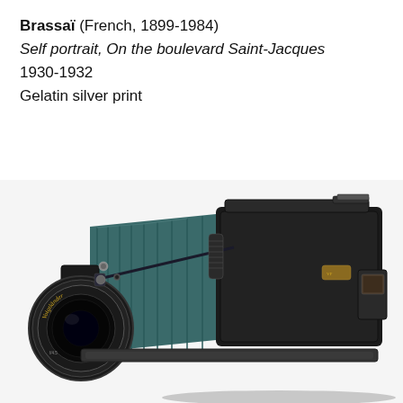Brassaï (French, 1899-1984)
Self portrait, On the boulevard Saint-Jacques
1930-1932
Gelatin silver print
[Figure (photo): A vintage Voigtländer bellows camera with teal/green accordion bellows extended, black body with silver lens and knobs, photographed on a white background.]